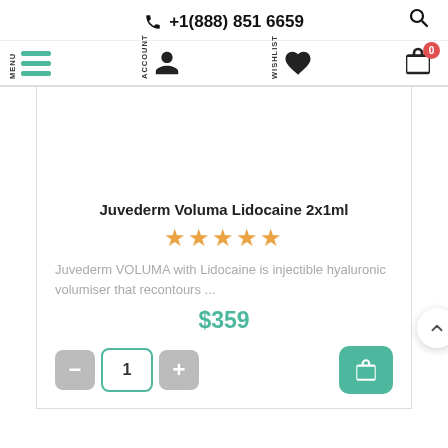📞 +1(888) 851 6659
[Figure (screenshot): Navigation bar with MENU hamburger icon (teal lines), ACCOUNT user icon, WISHLIST heart icon, and shopping bag icon with badge showing 0]
Juvederm Voluma Lidocaine 2x1ml
[Figure (other): 5-star rating displayed in orange/gold stars]
Juvederm VOLUMA with Lidocaine is injectible hyaluronic volumiser that recontours ...
$359
[Figure (other): Quantity selector with minus button, input showing 1, plus button, and teal add to cart button with bag icon]